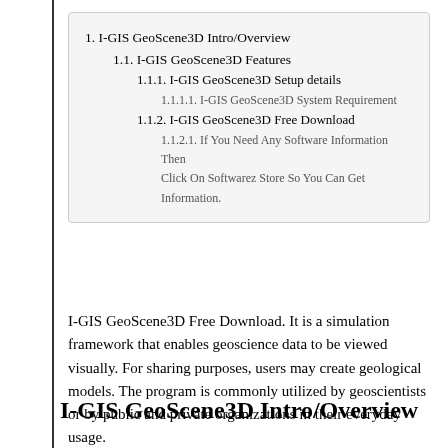1. I-GIS GeoScene3D Intro/Overview
1.1. I-GIS GeoScene3D Features
1.1.1. I-GIS GeoScene3D Setup details
1.1.1.1. I-GIS GeoScene3D System Requirement
1.1.2. I-GIS GeoScene3D Free Download
1.1.2.1. If You Need Any Software Information Then Click On Softwarez Store So You Can Get Information.
I-GIS GeoScene3D Free Download. It is a simulation framework that enables geoscience data to be viewed visually. For sharing purposes, users may create geological models. The program is commonly utilized by geoscientists or by public and private organizations in their everyday usage.
I-GIS GeoScene3D Intro/Overview